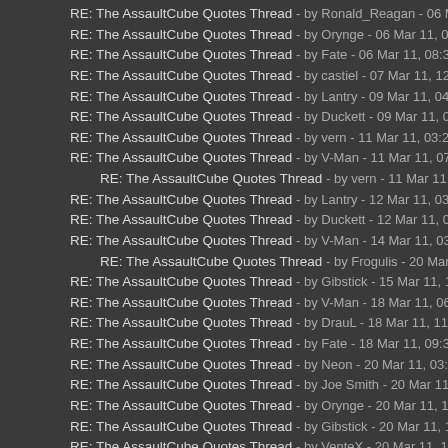RE: The AssaultCube Quotes Thread - by Ronald_Reagan - 06 Mar 11, 07:49AM
RE: The AssaultCube Quotes Thread - by Orynge - 06 Mar 11, 08:15AM
RE: The AssaultCube Quotes Thread - by Fate - 06 Mar 11, 08:36AM
RE: The AssaultCube Quotes Thread - by castiel - 07 Mar 11, 12:21PM
RE: The AssaultCube Quotes Thread - by Lantry - 09 Mar 11, 04:51AM
RE: The AssaultCube Quotes Thread - by Duckett - 09 Mar 11, 05:41AM
RE: The AssaultCube Quotes Thread - by vern - 11 Mar 11, 03:22AM
RE: The AssaultCube Quotes Thread - by V-Man - 11 Mar 11, 07:41AM
RE: The AssaultCube Quotes Thread - by vern - 11 Mar 11, 01:28PM (indented)
RE: The AssaultCube Quotes Thread - by Lantry - 12 Mar 11, 03:50AM
RE: The AssaultCube Quotes Thread - by Duckett - 12 Mar 11, 09:31PM
RE: The AssaultCube Quotes Thread - by V-Man - 14 Mar 11, 03:28AM
RE: The AssaultCube Quotes Thread - by Frogulis - 20 Mar 11, 12:31PM (indented)
RE: The AssaultCube Quotes Thread - by Gibstick - 15 Mar 11, 12:48AM
RE: The AssaultCube Quotes Thread - by V-Man - 18 Mar 11, 06:33AM
RE: The AssaultCube Quotes Thread - by DrauL - 18 Mar 11, 11:23AM
RE: The AssaultCube Quotes Thread - by Fate - 18 Mar 11, 09:34PM
RE: The AssaultCube Quotes Thread - by Neon - 20 Mar 11, 03:16AM
RE: The AssaultCube Quotes Thread - by Joe Smith - 20 Mar 11, 03:33AM
RE: The AssaultCube Quotes Thread - by Orynge - 20 Mar 11, 11:37AM
RE: The AssaultCube Quotes Thread - by Gibstick - 20 Mar 11, 12:57PM
RE: The AssaultCube Quotes Thread - by VenteX - 20 Mar 11, 10:19PM
RE: The AssaultCube Quotes Thread - by V-Man - 21 Mar 11, 02:01AM (indented)
RE: The AssaultCube Quotes Thread - by Frogulis - 21 Mar 11, 01:34PM
RE: The AssaultCube Quotes Thread - by CicloN - 21 Mar 11, 06:31PM